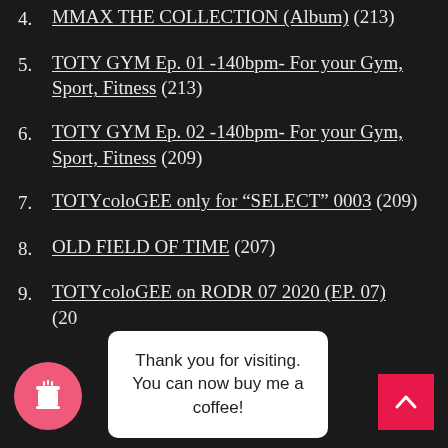4. MMAX THE COLLECTION (Album) (213)
5. TOTY GYM Ep. 01 -140bpm- For your Gym, Sport, Fitness (213)
6. TOTY GYM Ep. 02 -140bpm- For your Gym, Sport, Fitness (209)
7. TOTYcoloGEE only for “SELECT” 0003 (209)
8. OLD FIELD OF TIME (207)
9. TOTYcoloGEE on RODR 07 2020 (EP. 07) (20…)
Thank you for visiting. You can now buy me a coffee!